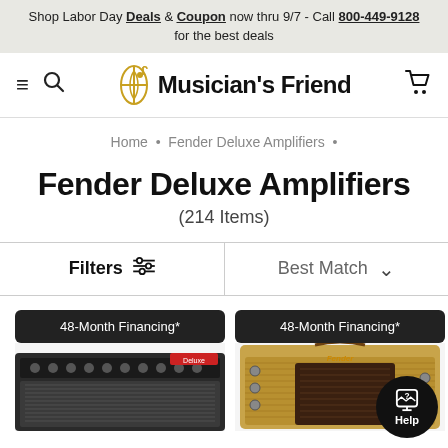Shop Labor Day Deals & Coupon now thru 9/7 - Call 800-449-9128 for the best deals
[Figure (logo): Musician's Friend logo with musical note icon]
Home · Fender Deluxe Amplifiers ·
Fender Deluxe Amplifiers
(214 Items)
Filters  Best Match
[Figure (photo): Two Fender Deluxe amplifier product cards each with 48-Month Financing* badge]
48-Month Financing*
48-Month Financing*